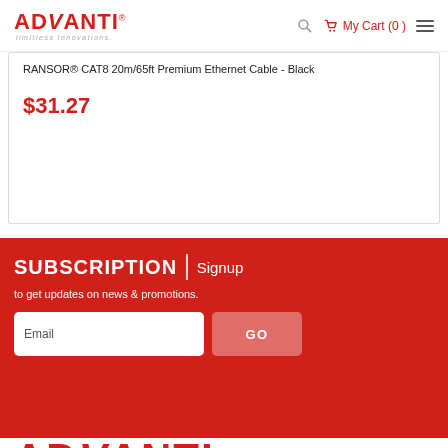ADVANTI limitless innovations. My Cart (0)
RANSOR® CAT8 20m/65ft Premium Ethernet Cable - Black
$31.27
SUBSCRIPTION | Signup
to get updates on news & promotions.
[Figure (screenshot): Email input field and GO button for subscription signup]
[Figure (logo): ADVANTI logo in red at the bottom of the page]